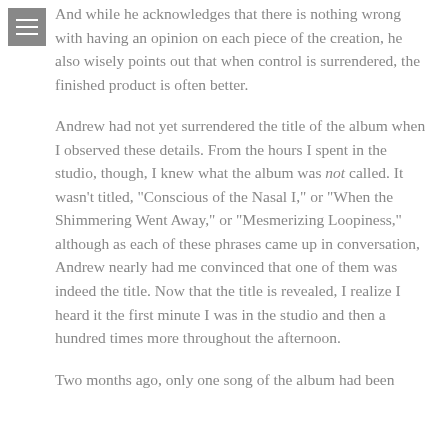And while he acknowledges that there is nothing wrong with having an opinion on each piece of the creation, he also wisely points out that when control is surrendered, the finished product is often better.

Andrew had not yet surrendered the title of the album when I observed these details. From the hours I spent in the studio, though, I knew what the album was not called. It wasn't titled, “Conscious of the Nasal I,” or “When the Shimmering Went Away,” or “Mesmerizing Loopiness,” although as each of these phrases came up in conversation, Andrew nearly had me convinced that one of them was indeed the title. Now that the title is revealed, I realize I heard it the first minute I was in the studio and then a hundred times more throughout the afternoon.

Two months ago, only one song of the album had been